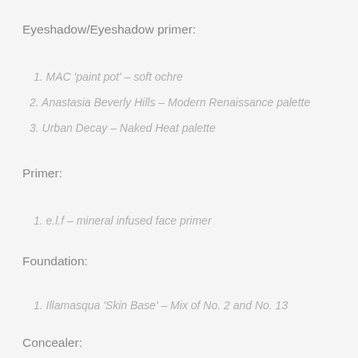Eyeshadow/Eyeshadow primer:
1. MAC 'paint pot' – soft ochre
2. Anastasia Beverly Hills – Modern Renaissance palette
3. Urban Decay – Naked Heat palette
Primer:
1. e.l.f – mineral infused face primer
Foundation:
1. Illamasqua 'Skin Base' – Mix of No. 2 and No. 13
Concealer:
1. Urban Decay 'Naked Skin' – fair neutral